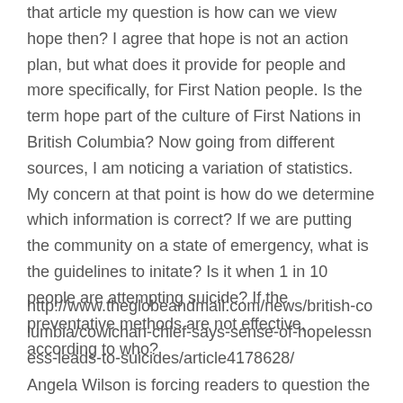that article my question is how can we view hope then? I agree that hope is not an action plan, but what does it provide for people and more specifically, for First Nation people. Is the term hope part of the culture of First Nations in British Columbia? Now going from different sources, I am noticing a variation of statistics. My concern at that point is how do we determine which information is correct? If we are putting the community on a state of emergency, what is the guidelines to initate? Is it when 1 in 10 people are attempting suicide? If the preventative methods are not effective, according to who?
http://www.theglobeandmail.com/news/british-columbia/cowichan-chief-says-sense-of-hopelessness-leads-to-suicides/article4178628/
Angela Wilson is forcing readers to question the authenticity and the source of our writings. I like this